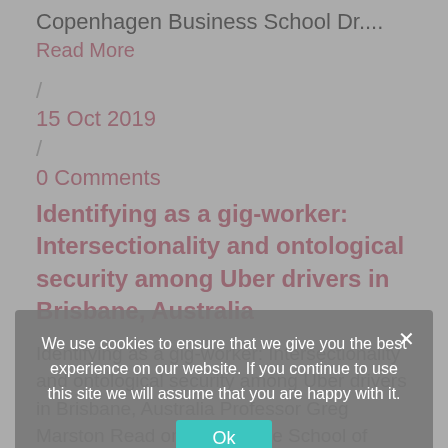Copenhagen Business School Dr....
Read More
/
15 Oct 2019
/
0 Comments
Identifying as a gig-worker: Intersectionality and ontological security among Uber drivers in Brisbane, Australia
Identifying as a gig-worker: Intersectionality and ontological security among Uber drivers in Brisbane, Australia Professor Greg Marston Read on School The School of Social....
Read More
/
14 Oct 2019
[Figure (screenshot): Cookie consent popup overlay: 'We use cookies to ensure that we give you the best experience on our website. If you continue to use this site we will assume that you are happy with it.' with an Ok button and a close X button.]